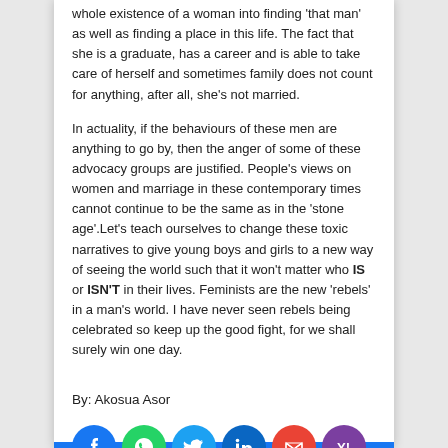whole existence of a woman into finding 'that man' as well as finding a place in this life. The fact that she is a graduate, has a career and is able to take care of herself and sometimes family does not count for anything, after all, she's not married.
In actuality, if the behaviours of these men are anything to go by, then the anger of some of these advocacy groups are justified. People's views on women and marriage in these contemporary times cannot continue to be the same as in the 'stone age'.Let's teach ourselves to change these toxic narratives to give young boys and girls to a new way of seeing the world such that it won't matter who IS or ISN'T in their lives. Feminists are the new 'rebels' in a man's world. I have never seen rebels being celebrated so keep up the good fight, for we shall surely win one day.
By: Akosua Asor
[Figure (infographic): Row of social media share buttons: Facebook (blue), WhatsApp (green), Twitter (light blue), LinkedIn (dark blue), Gmail (red), Yahoo Mail (purple)]